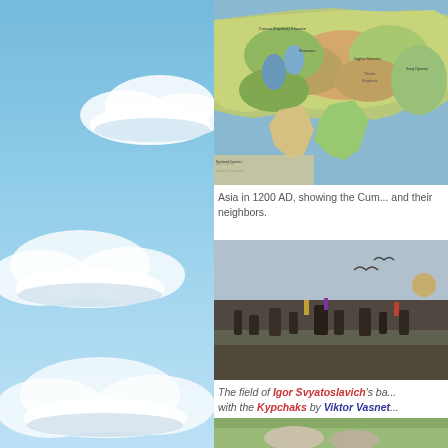[Figure (illustration): Blue sky background with white clouds on the left panel]
[Figure (map): Historical map of Asia in 1200 AD showing the Cumans/Kipchaks and their neighbors, with colored regions and labeled territories]
Asia in 1200 AD, showing the Cum... and their neighbors.
[Figure (photo): Painting showing a battlefield scene, The field of Igor Svyatoslavich's battle with the Kypchaks by Viktor Vasnetsov]
The field of Igor Svyatoslavich's ba... with the Kypchaks by Viktor Vasnet...
[Figure (photo): Bottom portion of another image, partially visible]